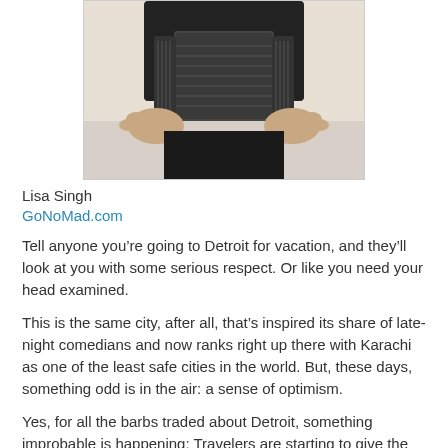[Figure (photo): A person playing an accordion, showing hands and the instrument, with dark clothing against a light background.]
Lisa Singh
GoNoMad.com
Tell anyone you’re going to Detroit for vacation, and they’ll look at you with some serious respect. Or like you need your head examined.
This is the same city, after all, that’s inspired its share of late-night comedians and now ranks right up there with Karachi as one of the least safe cities in the world. But, these days, something odd is in the air: a sense of optimism.
Yes, for all the barbs traded about Detroit, something improbable is happening: Travelers are starting to give the city, and its suburbs, another look. Maybe it has something to do with good news on the “Big Three” front — GM recently